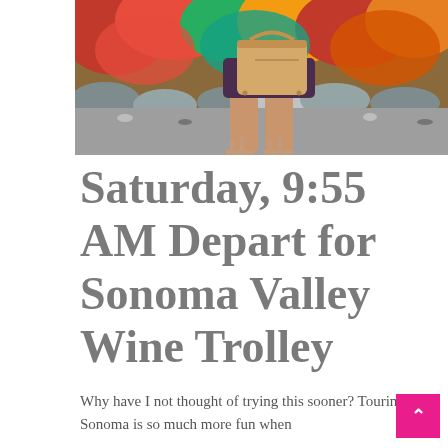[Figure (photo): Photo of a woman's legs and lower body holding a tan/beige structured handbag, wearing strappy sandals, standing in front of colorful red and green foliage with gravel ground visible.]
Saturday, 9:55 AM Depart for Sonoma Valley Wine Trolley
Why have I not thought of trying this sooner? Touring Sonoma is so much more fun when